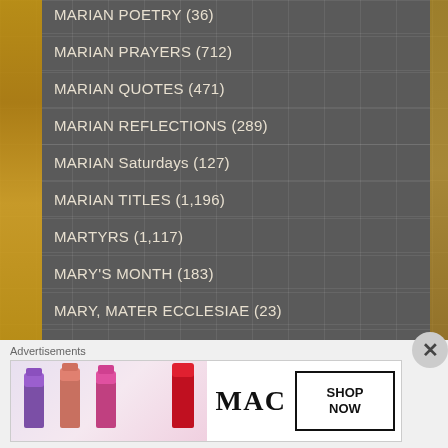MARIAN POETRY (36)
MARIAN PRAYERS (712)
MARIAN QUOTES (471)
MARIAN REFLECTIONS (289)
MARIAN Saturdays (127)
MARIAN TITLES (1,196)
MARTYRS (1,117)
MARY'S MONTH (183)
MARY, MATER ECCLESIAE (23)
MATER DOLOROSA – Mother of SORROWS (84)
MAUNDY THURSDAY (12)
Advertisements
[Figure (illustration): MAC cosmetics advertisement showing colorful lipsticks on the left, MAC logo in the center, and a SHOP NOW box on the right]